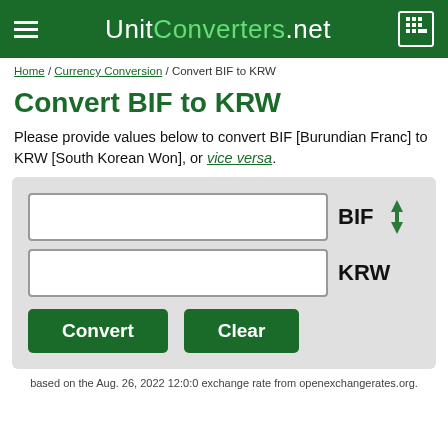UnitConverters.net
Home / Currency Conversion / Convert BIF to KRW
Convert BIF to KRW
Please provide values below to convert BIF [Burundian Franc] to KRW [South Korean Won], or vice versa.
[Figure (other): Currency converter form with two input fields (BIF and KRW), a swap icon, and Convert/Clear buttons]
based on the Aug. 26, 2022 12:0:0 exchange rate from openexchangerates.org.